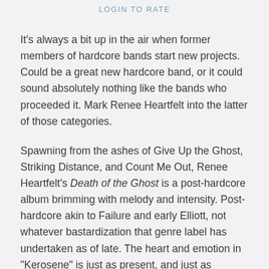LOGIN TO RATE
It's always a bit up in the air when former members of hardcore bands start new projects. Could be a great new hardcore band, or it could sound absolutely nothing like the bands who proceeded it. Mark Renee Heartfelt into the latter of those categories.
Spawning from the ashes of Give Up the Ghost, Striking Distance, and Count Me Out, Renee Heartfelt's Death of the Ghost is a post-hardcore album brimming with melody and intensity. Post-hardcore akin to Failure and early Elliott, not whatever bastardization that genre label has undertaken as of late. The heart and emotion in "Kerosene" is just as present, and just as noticeable as those same elements in "Sirens." No matter the pace or rhythms in the particular song, those are two descriptors that are never irrelevant. On that basis, Renee Heartfelt are able to expand and craft some truly engaging songs. Exuding an almost hypnotic feel, the singer's voice